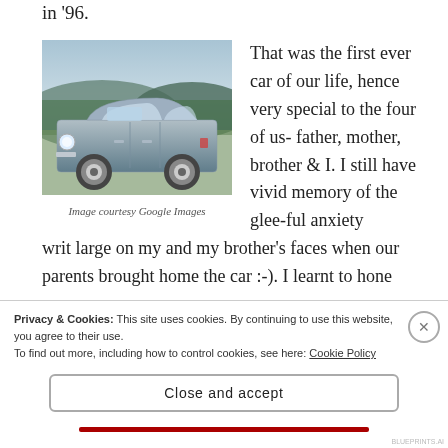in '96.
[Figure (photo): A silver/grey vintage sedan car (resembling a Fiat/Premier) parked outdoors with hills and trees in the background]
Image courtesy Google Images
That was the first ever car of our life, hence very special to the four of us- father, mother, brother & I. I still have vivid memory of the glee-ful anxiety writ large on my and my brother’s faces when our parents brought home the car :-). I learnt to hone
Privacy & Cookies: This site uses cookies. By continuing to use this website, you agree to their use.
To find out more, including how to control cookies, see here: Cookie Policy
Close and accept